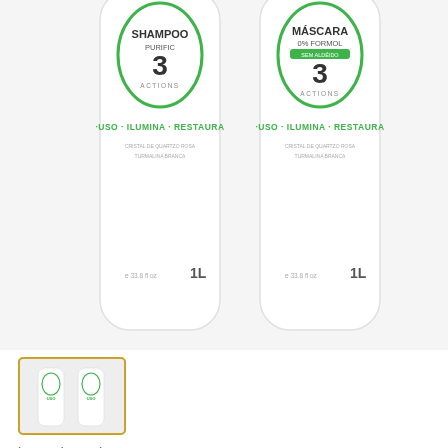[Figure (photo): Two large 1L white bottles of Madamelis hair treatment products side by side. Left bottle is labeled 'Shampoo Purific' with '3 Actions' and text 'USO · ILUMINA · RESTAURA', 33.8 fl oz 1L. Right bottle is labeled 'Máscara 0% Formol' with '3 Actions' and text 'USO · ILUMINA · RESTAURA', 33.8 fl oz 1L. Both bottles have a green oval logo. Background is light gray.]
[Figure (photo): Thumbnail image of both bottles (shampoo and mascara) shown together, small size. Has a gold/yellow border indicating it is selected.]
Zero Formol Free Progressive Brush Straightener Treatment Kit 2x1L - Madamelis
by MadameLis